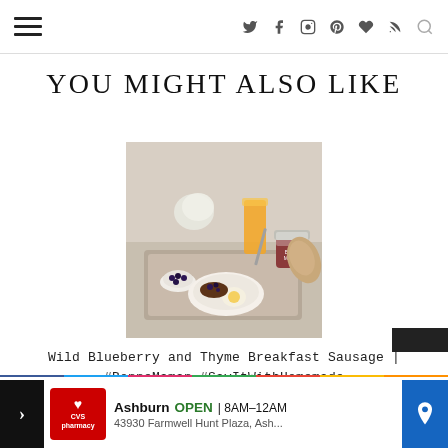Navigation header with hamburger menu and social icons
YOU MIGHT ALSO LIKE
[Figure (photo): Breakfast tray on bed with orange juice, jam, sausage, egg, blueberries, and bread]
Wild Blueberry and Thyme Breakfast Sausage | #BonneMaman #SayItWithHomemade
[Figure (screenshot): CVS Pharmacy advertisement: Ashburn OPEN 8AM-12AM, 43930 Farmwell Hunt Plaza, Ash...]